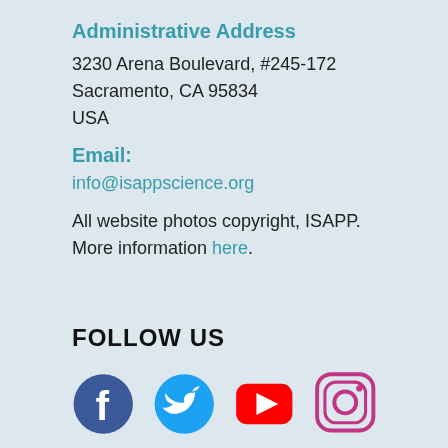Administrative Address
3230 Arena Boulevard, #245-172 Sacramento, CA 95834
USA
Email:
info@isappscience.org
All website photos copyright, ISAPP. More information here.
FOLLOW US
[Figure (logo): Social media icons: Facebook, Twitter, YouTube, Instagram]